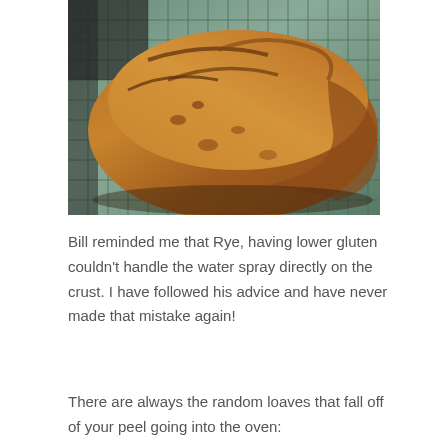[Figure (photo): A rustic loaf of rye bread with a scored crust, sitting on a green plaid cloth or towel. The bread has a dark golden-brown crust with deep diagonal score marks and a rough, textured surface.]
Bill reminded me that Rye, having lower gluten couldn't handle the water spray directly on the crust. I have followed his advice and have never made that mistake again!
There are always the random loaves that fall off of your peel going into the oven: